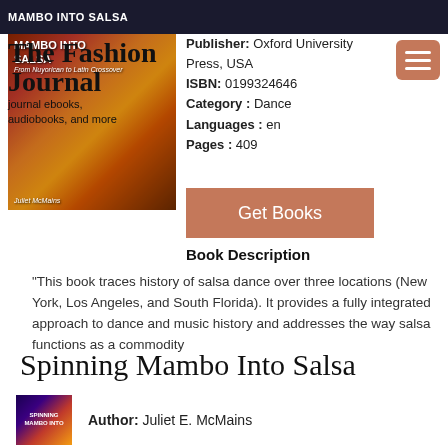MAMBO INTO SALSA
[Figure (illustration): Book cover of Spinning Mambo Into Salsa with colorful dancers]
The Fashion Journal
journal ebooks, audiobooks, and more
Publisher: Oxford University Press, USA
ISBN: 0199324646
Category : Dance
Languages : en
Pages : 409
Get Books
Book Description
"This book traces history of salsa dance over three locations (New York, Los Angeles, and South Florida). It provides a fully integrated approach to dance and music history and addresses the way salsa functions as a commodity
Spinning Mambo Into Salsa
[Figure (illustration): Small thumbnail of Spinning Mambo Into Salsa book cover]
Author: Juliet E. McMains